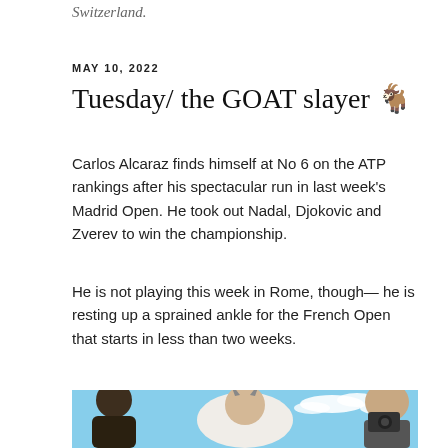Switzerland.
MAY 10, 2022
Tuesday/ the GOAT slayer 🐐
Carlos Alcaraz finds himself at No 6 on the ATP rankings after his spectacular run in last week's Madrid Open. He took out Nadal, Djokovic and Zverev to win the championship.
He is not playing this week in Rome, though— he is resting up a sprained ankle for the French Open that starts in less than two weeks.
[Figure (photo): A photo showing people and a goat against a blue sky with clouds, a humorous composite image with tennis player faces on goats.]